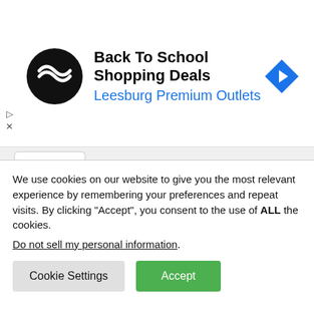[Figure (screenshot): Ad banner for Back To School Shopping Deals at Leesburg Premium Outlets, with a black circular logo with double arrows, a blue navigation diamond icon, and ad controls (play and close buttons).]
Don't get me wrong, the first movie was certainly political. Sascha Baron Cohen did not hold back at all when it came to attacking the worst parts of American culture and bigotry. Still, Borat was one of those movies that bigots could easily enjoy for the bigotry, rather than intended message of the bigotry. It is the problem Dave
We use cookies on our website to give you the most relevant experience by remembering your preferences and repeat visits. By clicking “Accept”, you consent to the use of ALL the cookies.
Do not sell my personal information.
Cookie Settings
Accept